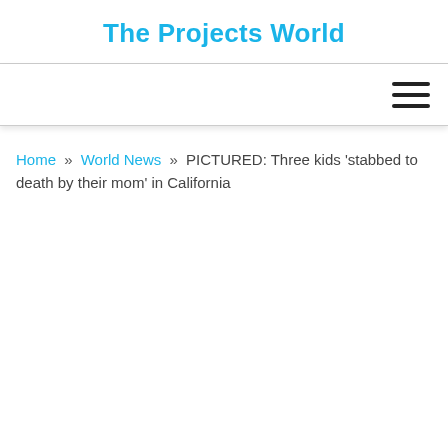The Projects World
Home » World News » PICTURED: Three kids 'stabbed to death by their mom' in California